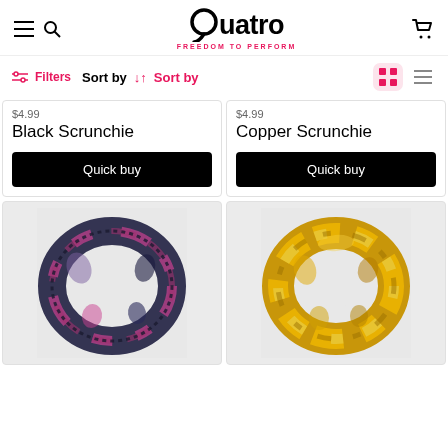Quatro – FREEDOM TO PERFORM
Filters  Sort by ↓↑ Sort by
$4.99
Black Scrunchie
Quick buy
$4.99
Copper Scrunchie
Quick buy
[Figure (photo): Dark navy and pink/purple tie-dye scrunchie on light grey background]
[Figure (photo): Gold/yellow velvet scrunchie on light grey background]